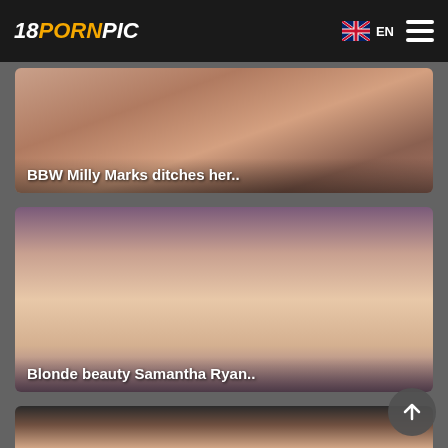18PORNPIC | EN
[Figure (photo): Adult content thumbnail with caption: BBW Milly Marks ditches her..]
[Figure (photo): Adult content thumbnail with caption: Blonde beauty Samantha Ryan..]
[Figure (photo): Adult content thumbnail, partially visible, no caption shown]